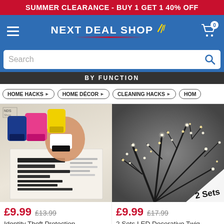SUMMER CLEARANCE - BUY 1 GET 1 40% OFF
[Figure (logo): Next Deal Shop logo with hamburger menu and cart icon showing 0 items]
Search
BY FUNCTION
HOME HACKS
HOME DÉCOR
CLEANING HACKS
HOM
[Figure (photo): Hand holding a colorful identity theft protection stamp/roller over a document with blacked out text. Multiple colored stamps (pink, blue, yellow) visible in background.]
[Figure (photo): LED decorative twig/branch lights with warm white LEDs on dark branches against grey background, labeled '2 Sets' in bottom right corner.]
£9.99  £13.99
£9.99  £17.99
Identity Theft Protection
2 Sets LED Decorative Twig